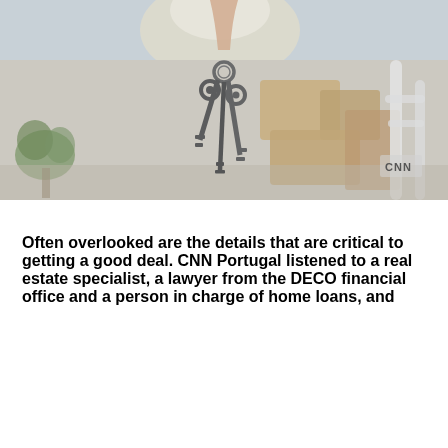[Figure (photo): A hand holding house keys dangling from a key ring, with a blurred background showing moving boxes, a plant, and a white chair in a room.]
Often overlooked are the details that are critical to getting a good deal. CNN Portugal listened to a real estate specialist, a lawyer from the DECO financial office and a person in charge of home loans, and